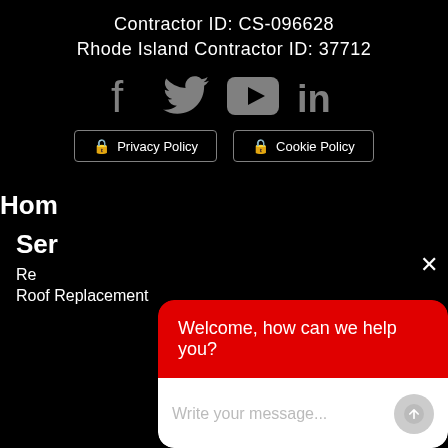Contractor ID: CS-096628
Rhode Island Contractor ID: 37712
[Figure (illustration): Social media icons: Facebook, Twitter, YouTube, LinkedIn in gray]
Privacy Policy  Cookie Policy
Hom
Ser
Re
Roof Replacement
[Figure (screenshot): Chat widget overlay with red header 'Welcome, how can we help you?' and white input area with placeholder 'Write your message...' and a send button. Close (X) button in top right.]